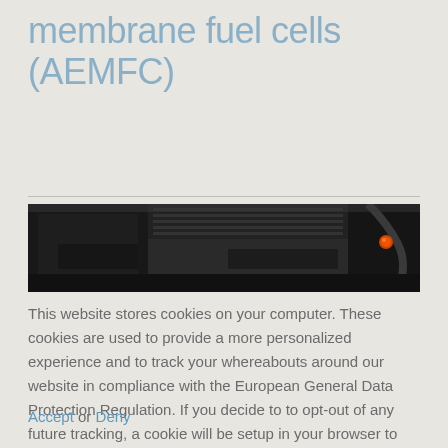membrane fuel cells (AEMFC)
[Figure (photo): Close-up photograph of a fuel cell engine component, showing dark mechanical parts with an orange cap visible on the right side.]
This website stores cookies on your computer. These cookies are used to provide a more personalized experience and to track your whereabouts around our website in compliance with the European General Data Protection Regulation. If you decide to to opt-out of any future tracking, a cookie will be setup in your browser to remember this choice for one year.
Accept or Deny